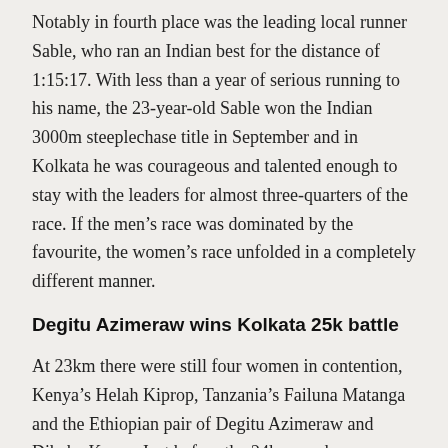Notably in fourth place was the leading local runner Sable, who ran an Indian best for the distance of 1:15:17. With less than a year of serious running to his name, the 23-year-old Sable won the Indian 3000m steeplechase title in September and in Kolkata he was courageous and talented enough to stay with the leaders for almost three-quarters of the race. If the men's race was dominated by the favourite, the women's race unfolded in a completely different manner.
Degitu Azimeraw wins Kolkata 25k battle
At 23km there were still four women in contention, Kenya's Helah Kiprop, Tanzania's Failuna Matanga and the Ethiopian pair of Degitu Azimeraw and Dibabe Kuma. Just before the 24km marker was